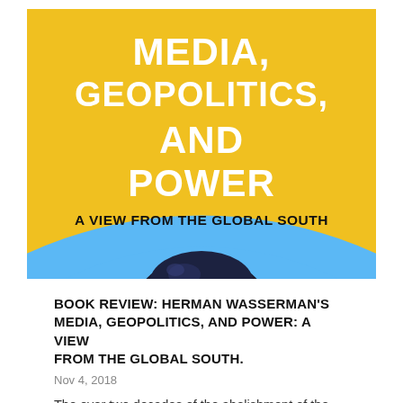[Figure (illustration): Book cover of 'Media, Geopolitics, and Power: A View from the Global South' by Herman Wasserman. Yellow background with concentric blue and yellow arcs/waves, white bold title text at top, black subtitle text below, and a dark globe graphic at bottom.]
BOOK REVIEW: HERMAN WASSERMAN'S MEDIA, GEOPOLITICS, AND POWER: A VIEW FROM THE GLOBAL SOUTH.
Nov 4, 2018
The over two decades of the abolishment of the